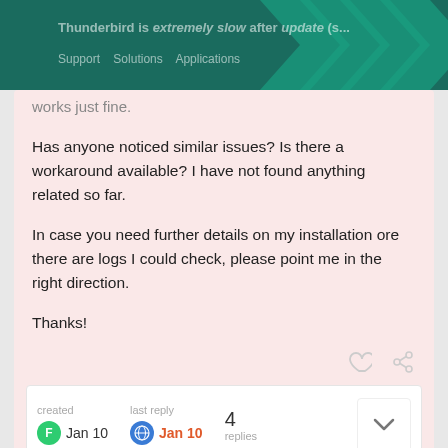Thunderbird is extremely slow after update (s... Support Solutions Applications
works just fine.
Has anyone noticed similar issues? Is there a workaround available? I have not found anything related so far.
In case you need further details on my installation ore there are logs I could check, please point me in the right direction.
Thanks!
created Jan 10  last reply Jan 10  4 replies